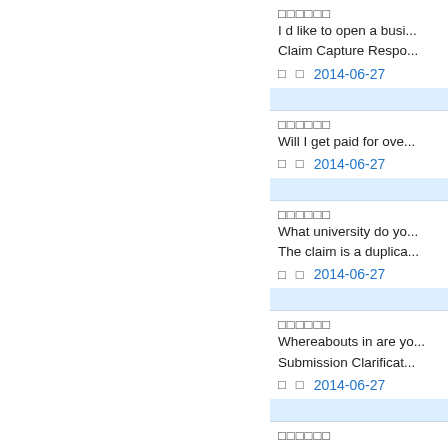I d like to open a busi... Claim Capture Respo...
2014-06-27
Will I get paid for ove...
2014-06-27
What university do yo... The claim is a duplica...
2014-06-27
Whereabouts in are yo... Submission Clarificat...
2014-06-27
How do you do? http:... compares the Prescrib...